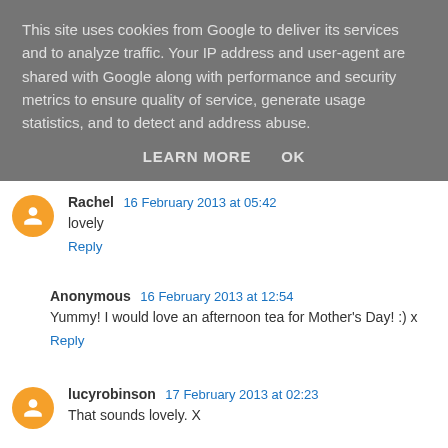This site uses cookies from Google to deliver its services and to analyze traffic. Your IP address and user-agent are shared with Google along with performance and security metrics to ensure quality of service, generate usage statistics, and to detect and address abuse.
LEARN MORE   OK
Rachel  16 February 2013 at 05:42
lovely
Reply
Anonymous  16 February 2013 at 12:54
Yummy! I would love an afternoon tea for Mother's Day! :) x
Reply
lucyrobinson  17 February 2013 at 02:23
That sounds lovely. X